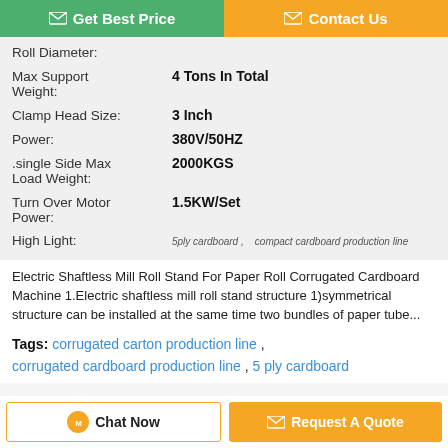Get Best Price | Contact Us
| Specification | Value |
| --- | --- |
| Roll Diameter: |  |
| Max Support Weight: | 4 Tons In Total |
| Clamp Head Size: | 3 Inch |
| Power: | 380V/50HZ |
| .single Side Max Load Weight: | 2000KGS |
| Turn Over Motor Power: | 1.5KW/Set |
| High Light: | 5ply cardboard , compact cardboard production line |
Electric Shaftless Mill Roll Stand For Paper Roll Corrugated Cardboard Machine 1.Electric shaftless mill roll stand structure 1)symmetrical structure can be installed at the same time two bundles of paper tube...
Tags: corrugated carton production line , corrugated cardboard production line , 5 ply cardboard
Chat Now | Request A Quote